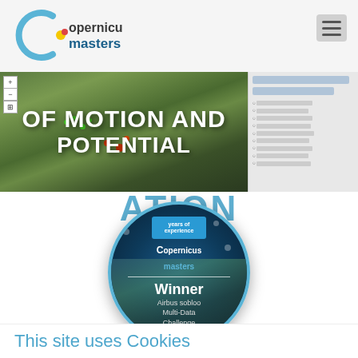[Figure (logo): Copernicus Masters logo — circular C shape in blue with sun/moon icon, text 'copernicus masters' in blue and dark blue]
[Figure (screenshot): Aerial/satellite map view showing green terrain with a sidebar panel listing dates and data layers on the right]
OF MOTION AND POTENTIAL
[Figure (illustration): Copernicus Masters Winner badge — circular badge with blue border, showing Copernicus Masters logo and text 'Winner Airbus sobloo Multi-Data Challenge']
This site uses Cookies